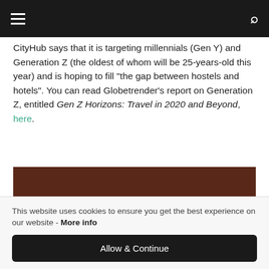Navigation bar with menu and search icons
CityHub says that it is targeting millennials (Gen Y) and Generation Z (the oldest of whom will be 25-years-old this year) and is hoping to fill "the gap between hostels and hotels". You can read Globetrender's report on Generation Z, entitled Gen Z Horizons: Travel in 2020 and Beyond, here.
[Figure (photo): Exterior photograph of CityHub hotel building facade at night with illuminated CityHub signs, warm orange glow from inside, neon decorations visible through windows]
This website uses cookies to ensure you get the best experience on our website - More info
Allow & Continue